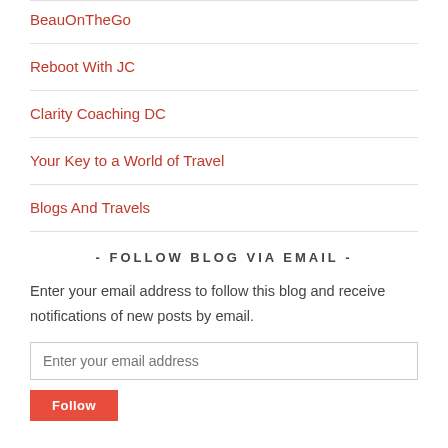BeauOnTheGo
Reboot With JC
Clarity Coaching DC
Your Key to a World of Travel
Blogs And Travels
- FOLLOW BLOG VIA EMAIL -
Enter your email address to follow this blog and receive notifications of new posts by email.